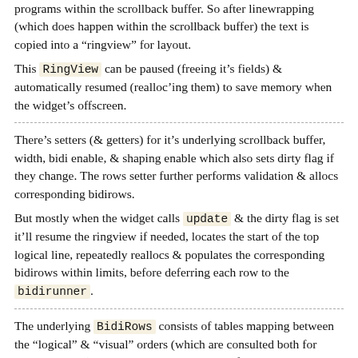programs within the scrollback buffer. So after linewrapping (which does happen within the scrollback buffer) the text is copied into a “ringview” for layout.
This RingView can be paused (freeing it’s fields) & automatically resumed (realloc’ing them) to save memory when the widget’s offscreen.
There’s setters (& getters) for it’s underlying scrollback buffer, width, bidi enable, & shaping enable which also sets dirty flag if they change. The rows setter further performs validation & allocs corresponding bidirows.
But mostly when the widget calls update & the dirty flag is set it’ll resume the ringview if needed, locates the start of the top logical line, repeatedly reallocs & populates the corresponding bidirows within limits, before deferring each row to the bidirunner.
The underlying BidiRows consists of tables mapping between the “logical” & “visual” orders (which are consulted both for input & output), which glyphs are right-to-left, & the glyphs corresponding to the text allocated with enough space to fill the terminal’s gridwidth. These tables have